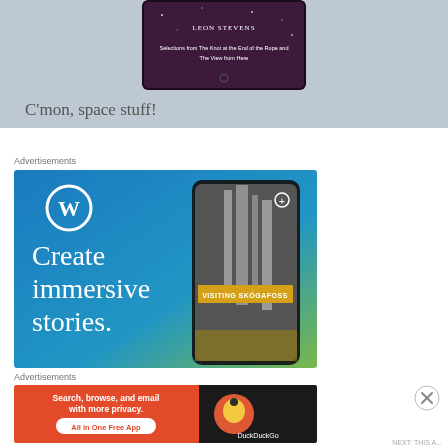[Figure (screenshot): Partial view of a book cover on a smartphone screen on a grayish-blue background, showing LEON STEVENS author name and text 'Selections from The Knot at the End of the Rope and The View from Here']
C'mon, space stuff!
Advertisements
[Figure (illustration): WordPress advertisement showing a blue gradient background with WordPress logo (W in circle), text 'Create immersive stories.' in white serif font on the left, and a smartphone on the right showing a waterfall image labeled 'VISITING SKÓGAFOSS']
Advertisements
[Figure (illustration): DuckDuckGo advertisement with orange/red background on left side showing 'Search, browse, and email with more privacy. All in One Free App' in white text, and dark right side with DuckDuckGo duck logo and text 'DuckDuckGo']
NEXT: THIS A...